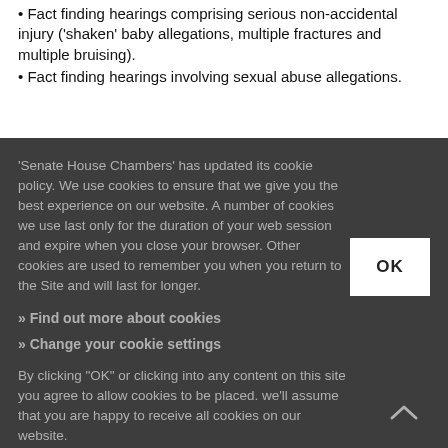• Fact finding hearings comprising serious non-accidental injury ('shaken' baby allegations, multiple fractures and multiple bruising).
• Fact finding hearings involving sexual abuse allegations.
'Senate House Chambers' has updated its cookie policy. We use cookies to ensure that we give you the best experience on our website. A number of cookies we use last only for the duration of your web session and expire when you close your browser. Other cookies are used to remember you when you return to the Site and will last for longer.
» Find out more about cookies
» Change your cookie settings
By clicking "OK" or clicking into any content on this site you agree to allow cookies to be placed. we'll assume that you are happy to receive all cookies on our website.